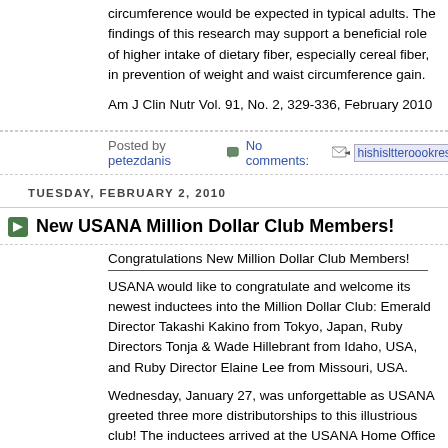circumference would be expected in typical adults. The findings of this research may support a beneficial role of higher intake of dietary fiber, especially cereal fiber, in prevention of weight and waist circumference gain.
Am J Clin Nutr Vol. 91, No. 2, 329-336, February 2010
Posted by petezdanis   No comments:   [email link]
TUESDAY, FEBRUARY 2, 2010
New USANA Million Dollar Club Members!
Congratulations New Million Dollar Club Members!
USANA would like to congratulate and welcome its newest inductees into the Million Dollar Club: Emerald Director Takashi Kakino from Tokyo, Japan, Ruby Directors Tonja & Wade Hillebrant from Idaho, USA, and Ruby Director Elaine Lee from Missouri, USA.
Wednesday, January 27, was unforgettable as USANA greeted three more distributorships to this illustrious club! The inductees arrived at the USANA Home Office in a stretch limousine, and they were greeted by rousing the applause of USANA employees. They then met with a